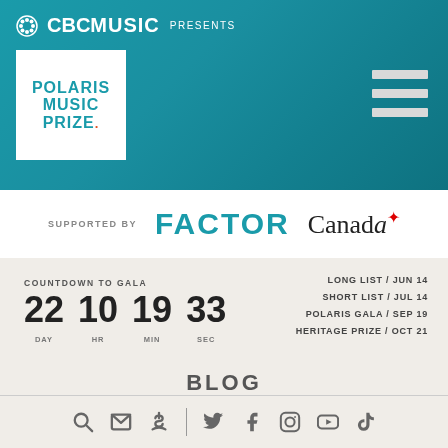CBC MUSIC PRESENTS - POLARIS MUSIC PRIZE
[Figure (logo): CBC Music Presents logo with Polaris Music Prize white box logo on teal background with hamburger menu icon]
[Figure (logo): SUPPORTED BY FACTOR Canada logos]
COUNTDOWN TO GALA
22 DAY  10 HR  19 MIN  33 SEC
LONG LIST / JUN 14
SHORT LIST / JUL 14
POLARIS GALA / SEP 19
HERITAGE PRIZE / OCT 21
BLOG
Lauren Toyota and Grant Lawrence Announced As 2013